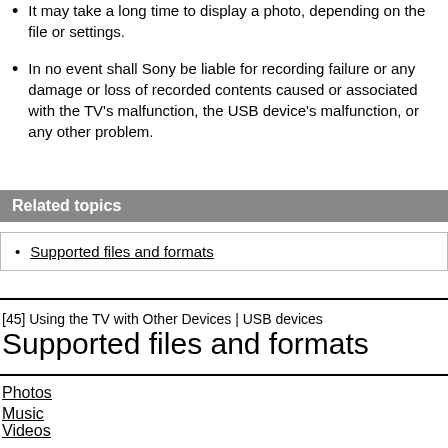It may take a long time to display a photo, depending on the file or settings.
In no event shall Sony be liable for recording failure or any damage or loss of recorded contents caused or associated with the TV's malfunction, the USB device's malfunction, or any other problem.
Related topics
Supported files and formats
[45] Using the TV with Other Devices | USB devices
Supported files and formats
Photos
Music
Videos
Audio sampling rates (for videos)
External subtitles